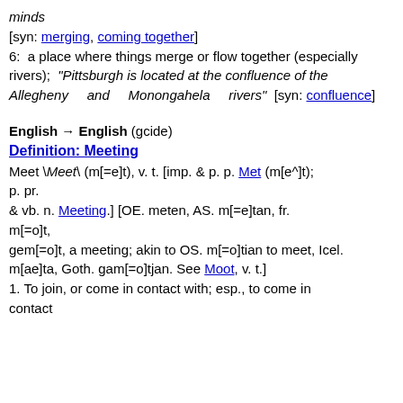minds
[syn: merging, coming together]
6: a place where things merge or flow together (especially rivers); "Pittsburgh is located at the confluence of the Allegheny and Monongahela rivers" [syn: confluence]
English → English (gcide)
Definition: Meeting
Meet \Meet\ (m[=e]t), v. t. [imp. & p. p. Met (m[e^]t); p. pr. & vb. n. Meeting.] [OE. meten, AS. m[=e]tan, fr. m[=o]t, gem[=o]t, a meeting; akin to OS. m[=o]tian to meet, Icel. m[ae]ta, Goth. gam[=o]tjan. See Moot, v. t.]
1. To join, or come in contact with; esp., to come in contact